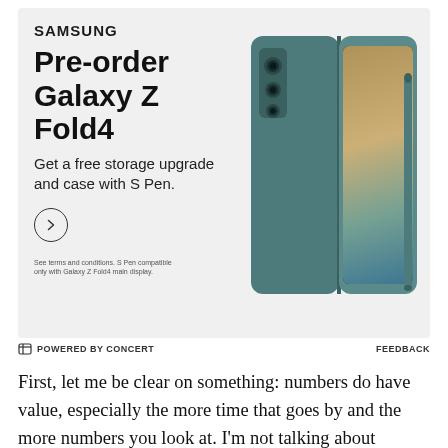[Figure (advertisement): Samsung Galaxy Z Fold4 pre-order advertisement with teal/gray phone and S Pen shown on right side. Background is light gray. Text on left: SAMSUNG logo, Pre-order Galaxy Z Fold4 headline, Get a free storage upgrade and case with S Pen., arrow circle button, fine print about S Pen compatibility.]
⊟ POWERED BY CONCERT   FEEDBACK
First, let me be clear on something: numbers do have value, especially the more time that goes by and the more numbers you look at. I'm not talking about examining a player's entire career or a three or four-year time span. The more numbers you get, the more